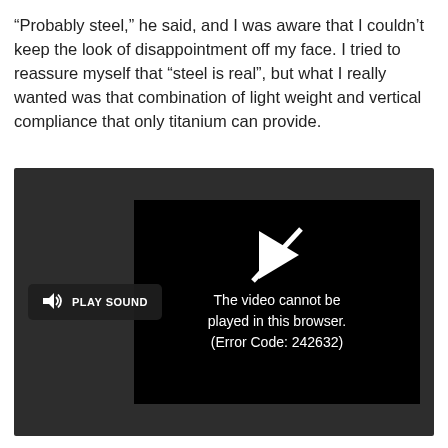“Probably steel,” he said, and I was aware that I couldn’t keep the look of disappointment off my face. I tried to reassure myself that “steel is real”, but what I really wanted was that combination of light weight and vertical compliance that only titanium can provide.
[Figure (screenshot): An embedded video player showing a dark background with a struck-through play button icon and an error message: 'The video cannot be played in this browser. (Error Code: 242632)'. A 'PLAY SOUND' button with a speaker icon is visible on the left side of the player.]